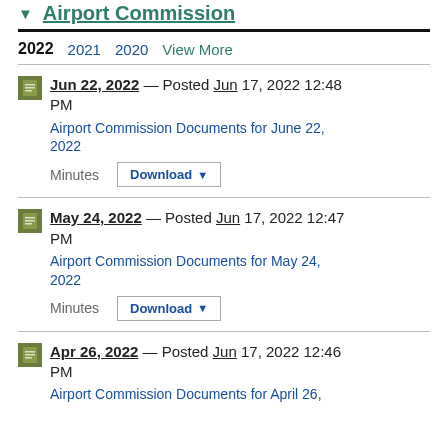Airport Commission
2022  2021  2020  View More
Jun 22, 2022 — Posted Jun 17, 2022 12:48 PM
Airport Commission Documents for June 22, 2022
Minutes  Download
May 24, 2022 — Posted Jun 17, 2022 12:47 PM
Airport Commission Documents for May 24, 2022
Minutes  Download
Apr 26, 2022 — Posted Jun 17, 2022 12:46 PM
Airport Commission Documents for April 26,